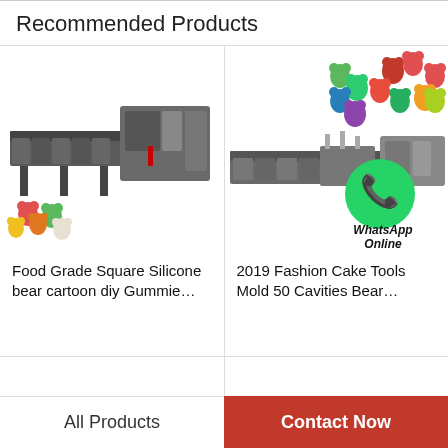Recommended Products
[Figure (photo): Industrial food-grade gummy bear production machine with colorful gummy bears on the left side]
[Figure (photo): Gummy bear candy production machine with colorful gummy bears scattered above and WhatsApp Online overlay]
Food Grade Square Silicone bear cartoon diy Gummie…
2019 Fashion Cake Tools Mold 50 Cavities Bear…
[Figure (photo): Partially visible colorful gummy bears (bottom left product)]
[Figure (photo): Partially visible colorful gummy bears (bottom right product)]
All Products
Contact Now